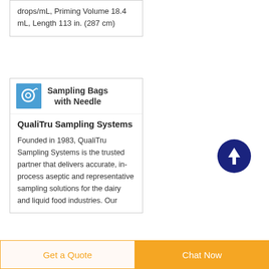drops/mL, Priming Volume 18.4 mL, Length 113 in. (287 cm)
[Figure (photo): Small product thumbnail showing sampling bag with needle on blue background]
Sampling Bags with Needle
QualiTru Sampling Systems
Founded in 1983, QualiTru Sampling Systems is the trusted partner that delivers accurate, in-process aseptic and representative sampling solutions for the dairy and liquid food industries. Our
[Figure (illustration): Dark navy circle with white upward arrow, scroll-to-top button]
Get a Quote
Chat Now